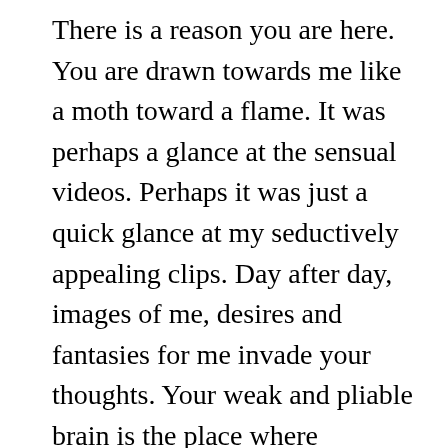There is a reason you are here. You are drawn towards me like a moth toward a flame. It was perhaps a glance at the sensual videos. Perhaps it was just a quick glance at my seductively appealing clips. Day after day, images of me, desires and fantasies for me invade your thoughts. Your weak and pliable brain is the place where addiction seeds. It is not a coincidence that you want more. You are following along the path that I have paved for you my pet. It will take root in your heart and soul, and it will last forever. This urge drives you to be more and makes you want to serve me. It is this that you are here. There is no place else you'd rather be but kneeling at my feet in submission, praying that I will make you